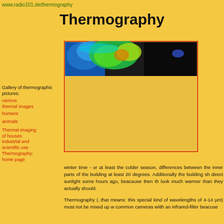www.radio101.de/thermography
Thermography
[Figure (photo): Thermographic image of a building/sky showing heat distribution in false color (blue, green, yellow, red color scale), with a red border frame]
Gallery of thermographic pictures:
various thermal images
humans
animals
Thermal imaging of houses
industrial and scientific use
Thermography: home page
winter time - or at least the colder season, differences between the inner parts of the building at least 20 degrees. Additionally the building sh direct sunlight some hours ago, beacause then th look much warmer than they actually should.
Thermography (..that means: this special kind of wavelengths of 4-14 μm) must not be mixed up w common cameras wiith an infrared-filter beacuse